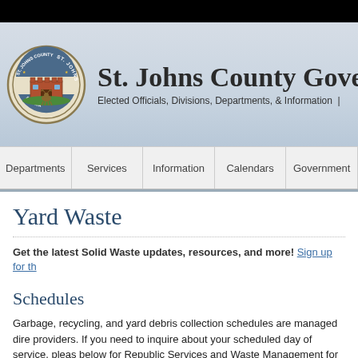St. Johns County Government — Elected Officials, Divisions, Departments, & Information
[Figure (logo): St. Johns County Florida official seal/logo]
Departments | Services | Information | Calendars | Government
Yard Waste
Get the latest Solid Waste updates, resources, and more! Sign up for th...
Schedules
Garbage, recycling, and yard debris collection schedules are managed dire... providers. If you need to inquire about your scheduled day of service, pleas... below for Republic Services and Waste Management for further assistance.
Service Providers